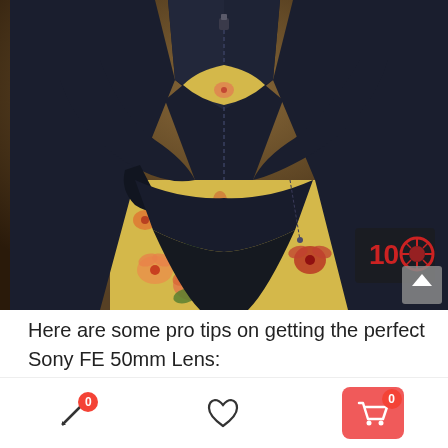[Figure (photo): A woman wearing a dark navy leather jacket over a yellow floral dress, arms crossed, photographed from neck to mid-thigh, warm bokeh background. A red camera aperture watermark logo with '10' text is visible in the lower right of the image.]
Here are some pro tips on getting the perfect Sony FE 50mm Lens: